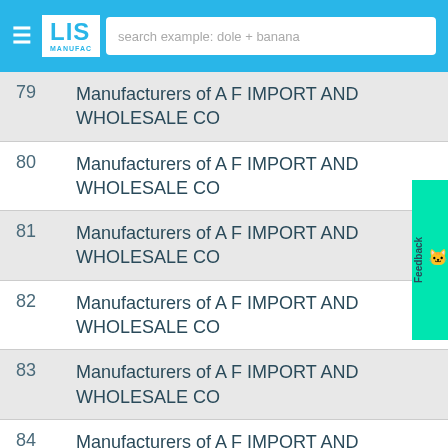LIST MANUFACTURERS - search example: dole + banana
79  Manufacturers of A F IMPORT AND WHOLESALE CO
80  Manufacturers of A F IMPORT AND WHOLESALE CO
81  Manufacturers of A F IMPORT AND WHOLESALE CO
82  Manufacturers of A F IMPORT AND WHOLESALE CO
83  Manufacturers of A F IMPORT AND WHOLESALE CO
84  Manufacturers of A F IMPORT AND WHOLESALE CO
85  Manufacturers of A F IMPORT AND WHOLESALE CO